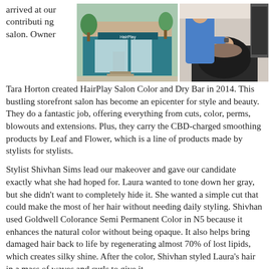arrived at our contributing salon. Owner
[Figure (photo): Exterior storefront photo of HairPlay Salon Color and Dry Bar]
[Figure (photo): Stylist washing a client's hair at a salon sink]
Tara Horton created HairPlay Salon Color and Dry Bar in 2014. This bustling storefront salon has become an epicenter for style and beauty. They do a fantastic job, offering everything from cuts, color, perms, blowouts and extensions. Plus, they carry the CBD-charged smoothing products by Leaf and Flower, which is a line of products made by stylists for stylists.
Stylist Shivhan Sims lead our makeover and gave our candidate exactly what she had hoped for. Laura wanted to tone down her gray, but she didn't want to completely hide it. She wanted a simple cut that could make the most of her hair without needing daily styling. Shivhan used Goldwell Colorance Semi Permanent Color in N5 because it enhances the natural color without being opaque. It also helps bring damaged hair back to life by regenerating almost 70% of lost lipids, which creates silky shine. After the color, Shivhan styled Laura's hair in a mass of waves and curls to give it